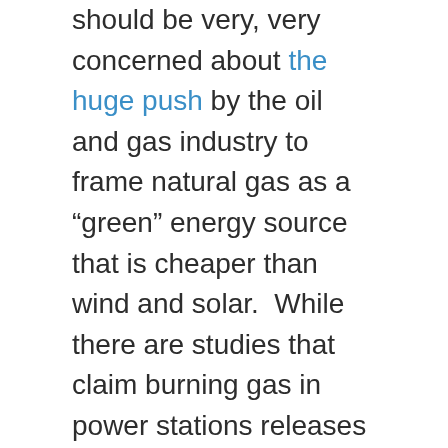should be very, very concerned about the huge push by the oil and gas industry to frame natural gas as a “green” energy source that is cheaper than wind and solar.  While there are studies that claim burning gas in power stations releases about half the carbon emissions of coal, a new study out of Cornell University found that generating electricity from shale gas – because of the difficulty in extracting it from